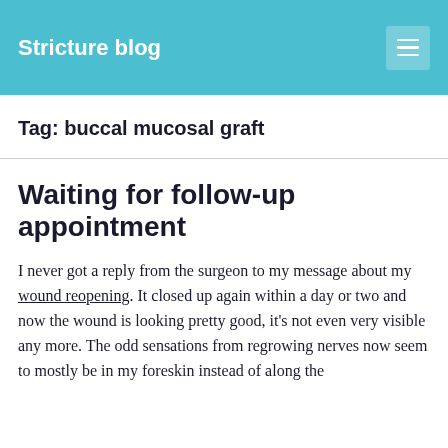Stricture blog
Tag: buccal mucosal graft
Waiting for follow-up appointment
I never got a reply from the surgeon to my message about my wound reopening. It closed up again within a day or two and now the wound is looking pretty good, it's not even very visible any more. The odd sensations from regrowing nerves now seem to mostly be in my foreskin instead of along the